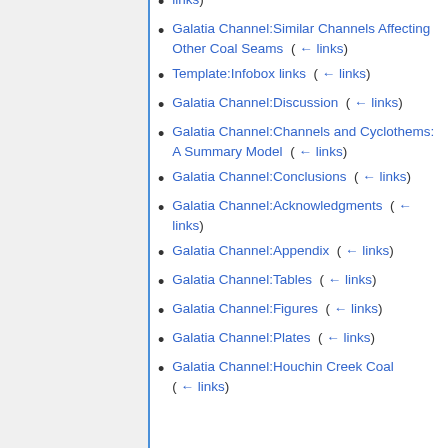Galatia Channel:Similar Channels Affecting Other Coal Seams  (← links)
Template:Infobox links  (← links)
Galatia Channel:Discussion  (← links)
Galatia Channel:Channels and Cyclothems: A Summary Model  (← links)
Galatia Channel:Conclusions  (← links)
Galatia Channel:Acknowledgments  (← links)
Galatia Channel:Appendix  (← links)
Galatia Channel:Tables  (← links)
Galatia Channel:Figures  (← links)
Galatia Channel:Plates  (← links)
Galatia Channel:Houchin Creek Coal  (← links)